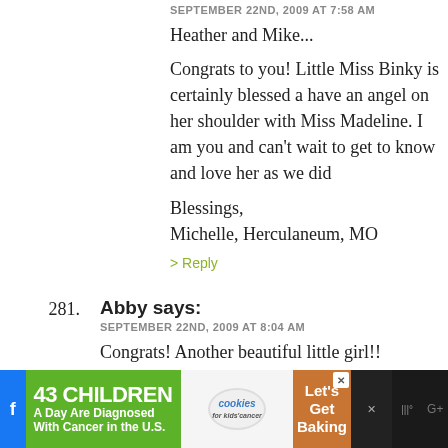SEPTEMBER 22ND, 2009 AT 7:58 AM
Heather and Mike...
Congrats to you! Little Miss Binky is certainly blessed a have an angel on her shoulder with Miss Madeline. I am you and can't wait to get to know and love her as we did
Blessings,
Michelle, Herculaneum, MO
> Reply
281. Abby says:
SEPTEMBER 22ND, 2009 AT 8:04 AM
Congrats! Another beautiful little girl!!
> Reply
282. J says:
SEPTEMBER 22ND, 2009 AT 8:08 AM
Congratulations!
[Figure (infographic): Advertisement banner: '43 CHILDREN A Day Are Diagnosed With Cancer in the U.S.' with cookies for kids cancer logo and 'Let's Get Baking' text on brown/orange background]